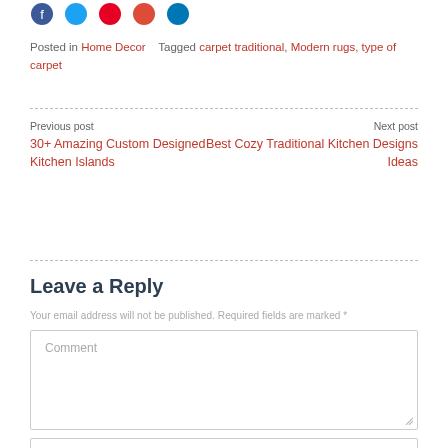[Figure (illustration): Row of social media icon circles (blue Facebook, light blue Twitter, red Pinterest, red Google+, dark blue LinkedIn) partially visible at top]
Posted in Home Decor   Tagged carpet traditional, Modern rugs, type of carpet
Previous post
30+ Amazing Custom Designed Kitchen Islands
Next post
Best Cozy Traditional Kitchen Designs Ideas
Leave a Reply
Your email address will not be published. Required fields are marked *
Comment
Name*